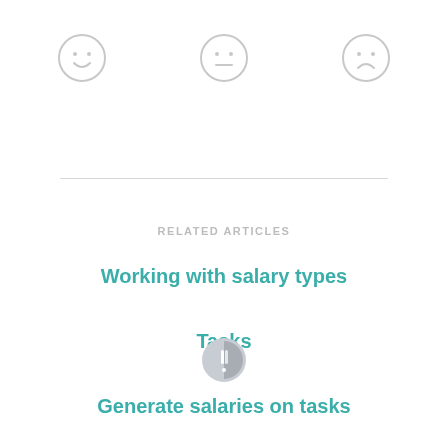[Figure (illustration): Three emoji faces: happy (smiley), neutral, and sad, rendered as light gray circle outlines]
RELATED ARTICLES
Working with salary types
Tasks
Generate salaries on tasks
[Figure (logo): Small circular logo icon with a vertical split design in light gray]